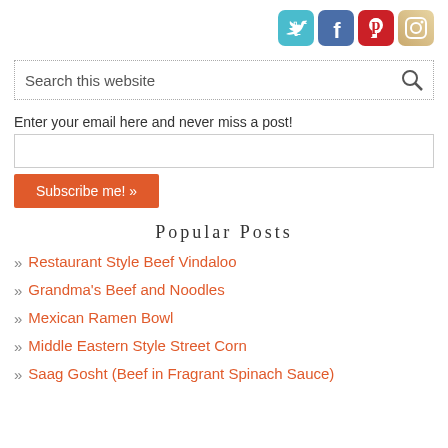[Figure (illustration): Four social media icons: Twitter (teal), Facebook (blue), Pinterest (red), Instagram (tan/retro camera)]
Search this website
Enter your email here and never miss a post!
Subscribe me! »
Popular Posts
Restaurant Style Beef Vindaloo
Grandma's Beef and Noodles
Mexican Ramen Bowl
Middle Eastern Style Street Corn
Saag Gosht (Beef in Fragrant Spinach Sauce)